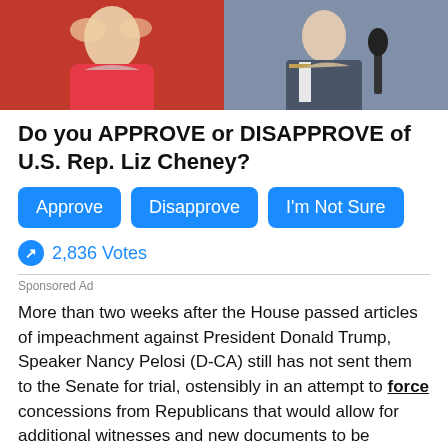[Figure (photo): Split photo banner: left side shows a woman in a red jacket (partial view), right side shows a man in a suit speaking at a microphone.]
Do you APPROVE or DISAPPROVE of U.S. Rep. Liz Cheney?
Approve
Disapprove
I'm Not Sure
2,836 Votes
Sponsored Ad
More than two weeks after the House passed articles of impeachment against President Donald Trump, Speaker Nancy Pelosi (D-CA) still has not sent them to the Senate for trial, ostensibly in an attempt to force concessions from Republicans that would allow for additional witnesses and new documents to be brought forth during the next phase of impeachment.